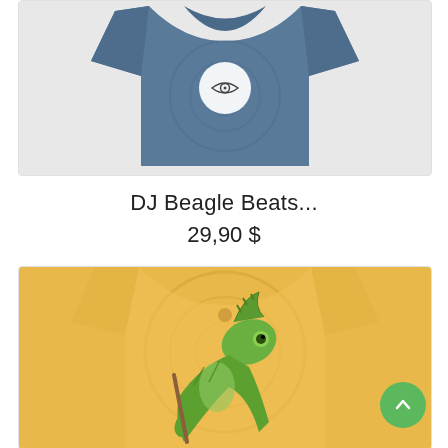[Figure (photo): Blue tie-dye t-shirt product photo with a circular eye/preview icon overlay in the center]
DJ Beagle Beats...
29,90 $
[Figure (photo): Yellow/golden tie-dye t-shirt with a large green chameleon graphic climbing a stick, product photo]